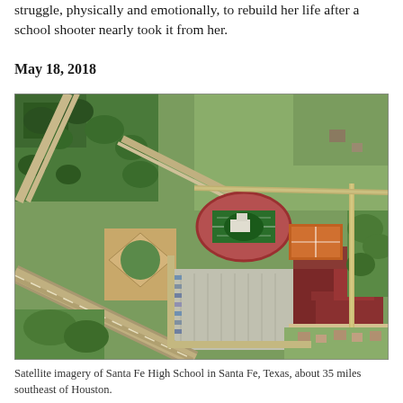struggle, physically and emotionally, to rebuild her life after a school shooter nearly took it from her.
May 18, 2018
[Figure (photo): Aerial satellite imagery of Santa Fe High School in Santa Fe, Texas, showing school buildings, athletic fields including a football track oval, baseball diamond, parking lots, and surrounding rural landscape with roads and green fields.]
Satellite imagery of Santa Fe High School in Santa Fe, Texas, about 35 miles southeast of Houston.